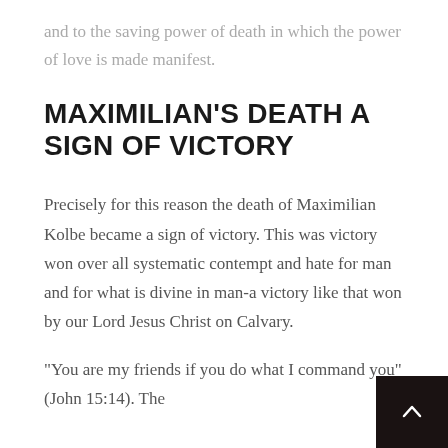and to the saving power of death in which the power of love is made manifest.
MAXIMILIAN'S DEATH A SIGN OF VICTORY
Precisely for this reason the death of Maximilian Kolbe became a sign of victory. This was victory won over all systematic contempt and hate for man and for what is divine in man-a victory like that won by our Lord Jesus Christ on Calvary.
“You are my friends if you do what I command you” (John 15:14). The